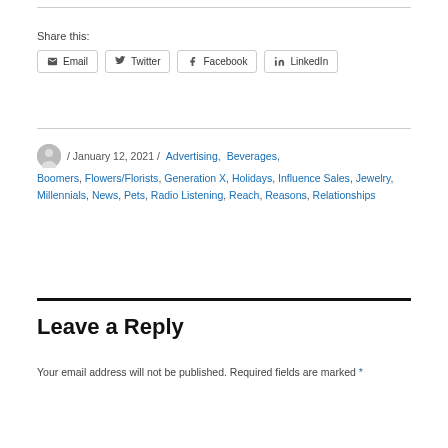Share this:
Email  Twitter  Facebook  LinkedIn
/ January 12, 2021 / Advertising, Beverages, Boomers, Flowers/Florists, Generation X, Holidays, Influence Sales, Jewelry, Millennials, News, Pets, Radio Listening, Reach, Reasons, Relationships
Leave a Reply
Your email address will not be published. Required fields are marked *